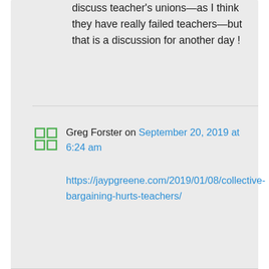discuss teacher's unions—as I think they have really failed teachers—but that is a discussion for another day !
Greg Forster on September 20, 2019 at 6:24 am
https://jaypgreene.com/2019/01/08/collective-bargaining-hurts-teachers/